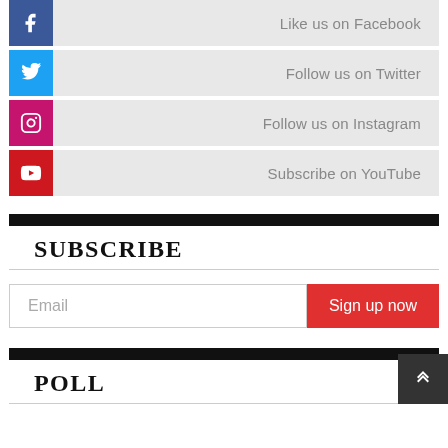Like us on Facebook
Follow us on Twitter
Follow us on Instagram
Subscribe on YouTube
SUBSCRIBE
Email
Sign up now
POLL